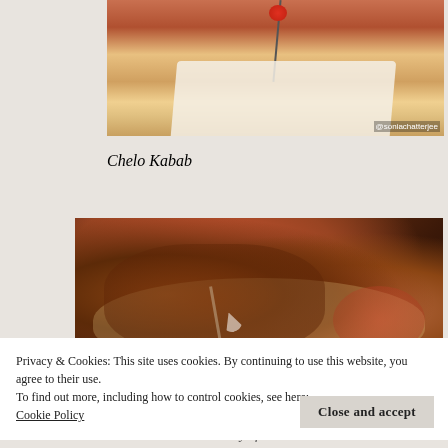[Figure (photo): Photo of Chelo Kabab dish with skewers and garnish, with @soniachatterjee watermark in bottom right]
Chelo Kabab
[Figure (photo): Photo of Chelo Kabab served on flatbread with sauce, vegetables and noodles. A pink menu/card partially visible at bottom left reading 'Better f... tterTas']
Privacy & Cookies: This site uses cookies. By continuing to use this website, you agree to their use.
To find out more, including how to control cookies, see here:
Cookie Policy
Close and accept
which was our second destination on the day of